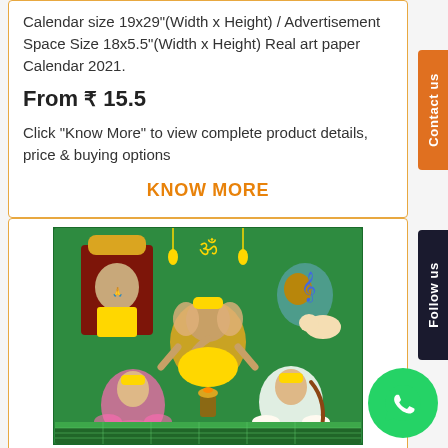Calendar size 19x29"(Width x Height) / Advertisement Space Size 18x5.5"(Width x Height) Real art paper Calendar 2021.
From ₹ 15.5
Click "Know More" to view complete product details, price & buying options
KNOW MORE
[Figure (illustration): Hindu religious calendar 2021 showing deities including Ganesha, Lakshmi, Saraswati, Venkateswara, and Krishna on green background with calendar rows at bottom.]